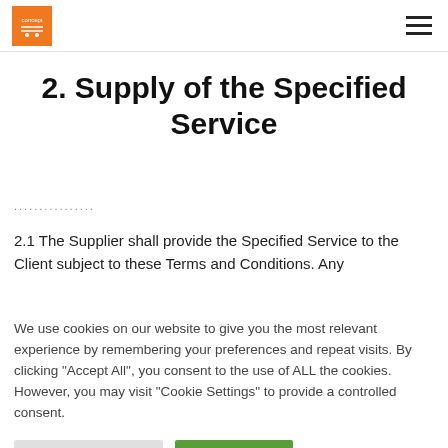[Logo] [Hamburger menu]
2. Supply of the Specified Service
2.1 The Supplier shall provide the Specified Service to the Client subject to these Terms and Conditions. Any
We use cookies on our website to give you the most relevant experience by remembering your preferences and repeat visits. By clicking "Accept All", you consent to the use of ALL the cookies. However, you may visit "Cookie Settings" to provide a controlled consent.
Cookie Settings   Accept All